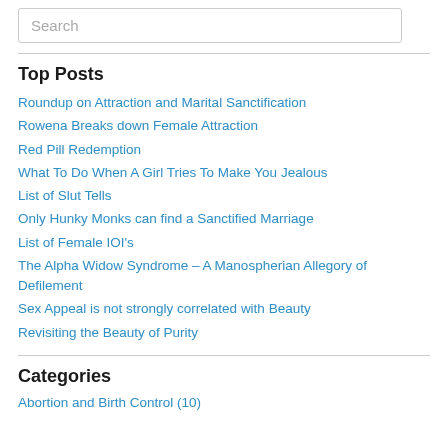Search
Top Posts
Roundup on Attraction and Marital Sanctification
Rowena Breaks down Female Attraction
Red Pill Redemption
What To Do When A Girl Tries To Make You Jealous
List of Slut Tells
Only Hunky Monks can find a Sanctified Marriage
List of Female IOI's
The Alpha Widow Syndrome – A Manospherian Allegory of Defilement
Sex Appeal is not strongly correlated with Beauty
Revisiting the Beauty of Purity
Categories
Abortion and Birth Control (10)